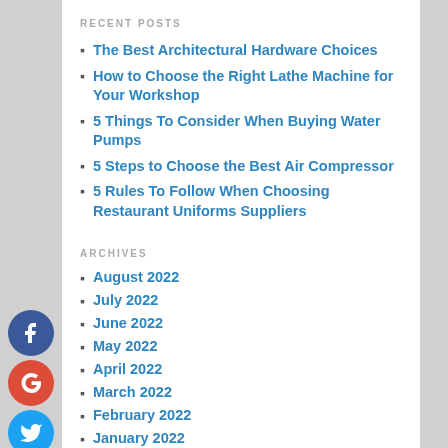RECENT POSTS
The Best Architectural Hardware Choices
How to Choose the Right Lathe Machine for Your Workshop
5 Things To Consider When Buying Water Pumps
5 Steps to Choose the Best Air Compressor
5 Rules To Follow When Choosing Restaurant Uniforms Suppliers
ARCHIVES
August 2022
July 2022
June 2022
May 2022
April 2022
March 2022
February 2022
January 2022
December 2021
November 2021